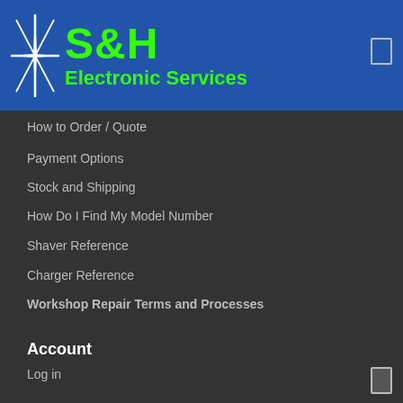[Figure (logo): S&H Electronic Services logo with star graphic on blue background header]
How to Order / Quote
Payment Options
Stock and Shipping
How Do I Find My Model Number
Shaver Reference
Charger Reference
Workshop Repair Terms and Processes
Account
Log in
Create Account
View your orders
Track Parcel